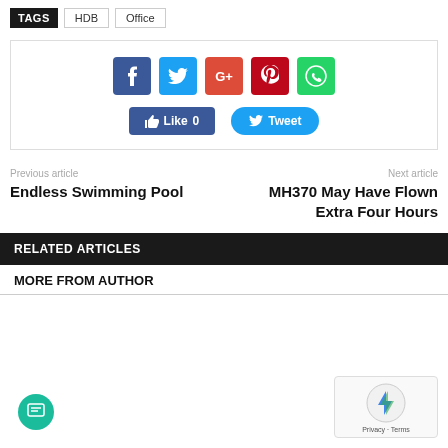TAGS  HDB  Office
[Figure (infographic): Social sharing buttons: Facebook, Twitter, Google+, Pinterest, WhatsApp icons, and Like 0 and Tweet action buttons]
Previous article
Endless Swimming Pool
Next article
MH370 May Have Flown Extra Four Hours
RELATED ARTICLES
MORE FROM AUTHOR